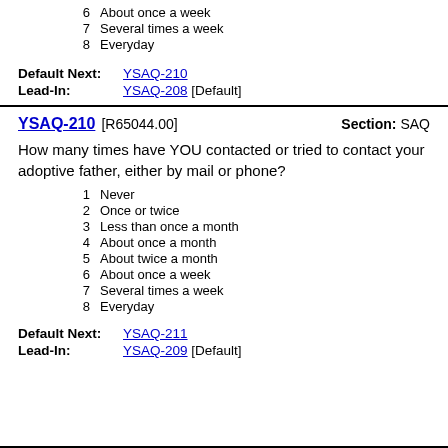6  About once a week
7  Several times a week
8  Everyday
Default Next: YSAQ-210
Lead-In: YSAQ-208 [Default]
YSAQ-210 [R65044.00]   Section: SAQ
How many times have YOU contacted or tried to contact your adoptive father, either by mail or phone?
1  Never
2  Once or twice
3  Less than once a month
4  About once a month
5  About twice a month
6  About once a week
7  Several times a week
8  Everyday
Default Next: YSAQ-211
Lead-In: YSAQ-209 [Default]